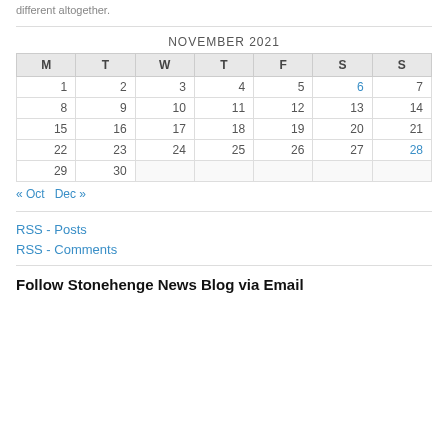different altogether.
| M | T | W | T | F | S | S |
| --- | --- | --- | --- | --- | --- | --- |
| 1 | 2 | 3 | 4 | 5 | 6 | 7 |
| 8 | 9 | 10 | 11 | 12 | 13 | 14 |
| 15 | 16 | 17 | 18 | 19 | 20 | 21 |
| 22 | 23 | 24 | 25 | 26 | 27 | 28 |
| 29 | 30 |  |  |  |  |  |
« Oct   Dec »
RSS - Posts
RSS - Comments
Follow Stonehenge News Blog via Email